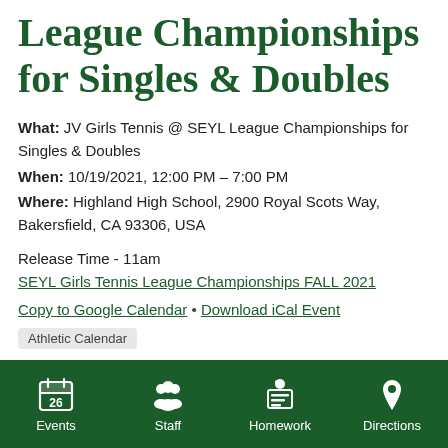League Championships for Singles & Doubles
What: JV Girls Tennis @ SEYL League Championships for Singles & Doubles
When: 10/19/2021, 12:00 PM – 7:00 PM
Where: Highland High School, 2900 Royal Scots Way, Bakersfield, CA 93306, USA
Release Time - 11am
SEYL Girls Tennis League Championships FALL 2021
Copy to Google Calendar • Download iCal Event
Athletic Calendar
Events | Staff | Homework | Directions